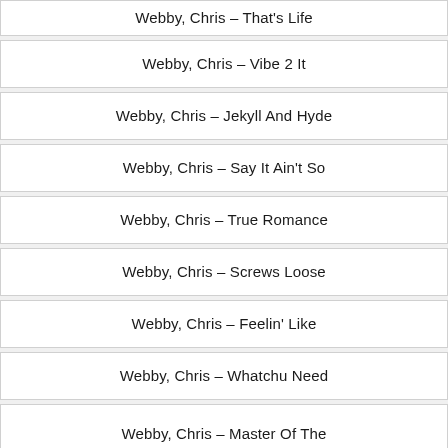Webby, Chris – That's Life
Webby, Chris – Vibe 2 It
Webby, Chris – Jekyll And Hyde
Webby, Chris – Say It Ain't So
Webby, Chris – True Romance
Webby, Chris – Screws Loose
Webby, Chris – Feelin' Like
Webby, Chris – Whatchu Need
Webby, Chris – Master Of The Ceremony
Webby, Chris – On My Way
Webby, Chris – Sativa